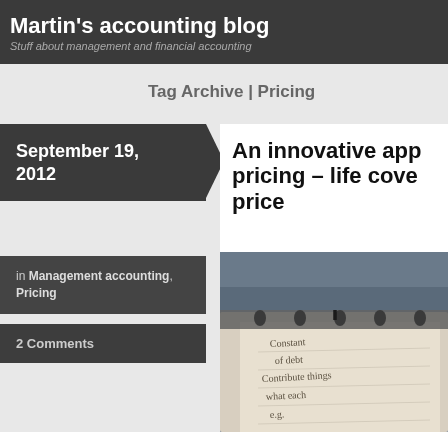Martin's accounting blog
Stuff about management and financial accounting
Tag Archive | Pricing
September 19, 2012
in Management accounting, Pricing
2 Comments
An innovative approach to pricing – life cover at the right price
[Figure (photo): Close-up photo of a notebook with a heart-shaped paper clip on the ring binder, with handwritten text visible on the page]